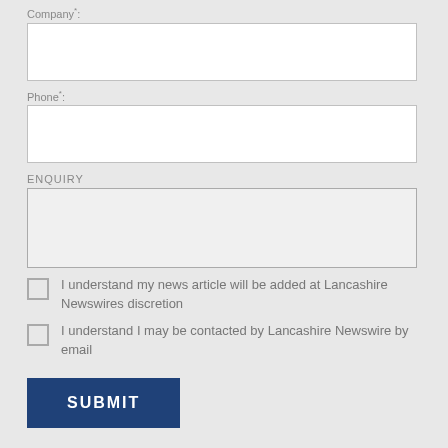Company*:
Phone*:
ENQUIRY
I understand my news article will be added at Lancashire Newswires discretion
I understand I may be contacted by Lancashire Newswire by email
SUBMIT